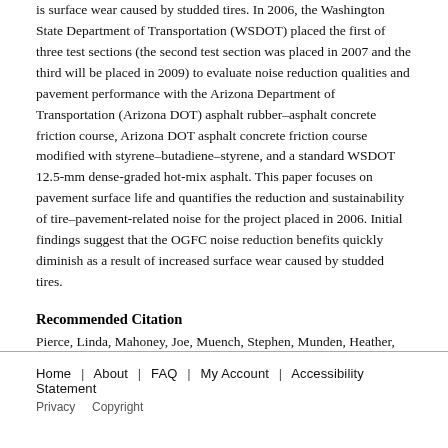is surface wear caused by studded tires. In 2006, the Washington State Department of Transportation (WSDOT) placed the first of three test sections (the second test section was placed in 2007 and the third will be placed in 2009) to evaluate noise reduction qualities and pavement performance with the Arizona Department of Transportation (Arizona DOT) asphalt rubber–asphalt concrete friction course, Arizona DOT asphalt concrete friction course modified with styrene–butadiene–styrene, and a standard WSDOT 12.5-mm dense-graded hot-mix asphalt. This paper focuses on pavement surface life and quantifies the reduction and sustainability of tire–pavement-related noise for the project placed in 2006. Initial findings suggest that the OGFC noise reduction benefits quickly diminish as a result of increased surface wear caused by studded tires.
Recommended Citation
Pierce, Linda, Mahoney, Joe, Muench, Stephen, Munden, Heather, Waters, Mia, Uhlmeyer, Jeffrey, (2009.) Quieter Hot-Mix Asphalt Pavements in Washington State. Transportation Research Record: Journal of the Transportation Research Board, 2095, pp 84-92.
Home | About | FAQ | My Account | Accessibility Statement Privacy Copyright